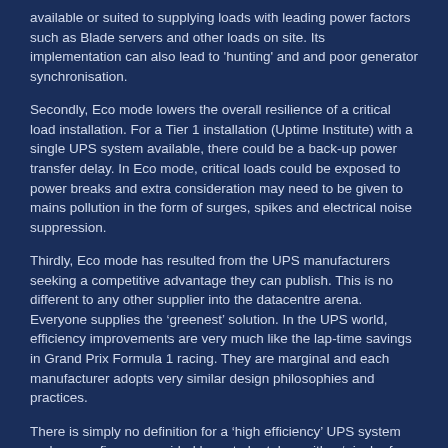available or suited to supplying loads with leading power factors such as Blade servers and other loads on site. Its implementation can also lead to 'hunting' and and poor generator synchronisation.
Secondly, Eco mode lowers the overall resilience of a critical load installation. For a Tier 1 installation (Uptime Institute) with a single UPS system available, there could be a back-up power transfer delay. In Eco mode, critical loads could be exposed to power breaks and extra consideration may need to be given to mains pollution in the form of surges, spikes and electrical noise suppression.
Thirdly, Eco mode has resulted from the UPS manufacturers seeking a competitive advantage they can publish. This is no different to any other supplier into the datacentre arena. Everyone supplies the ‘greenest’ solution. In the UPS world, efficiency improvements are very much like the lap-time savings in Grand Prix Formula 1 racing. They are marginal and each manufacturer adopts very similar design philosophies and practices.
There is simply no definition for a ‘high efficiency’ UPS system and so any figures provided have to be taken with a ‘pinch of